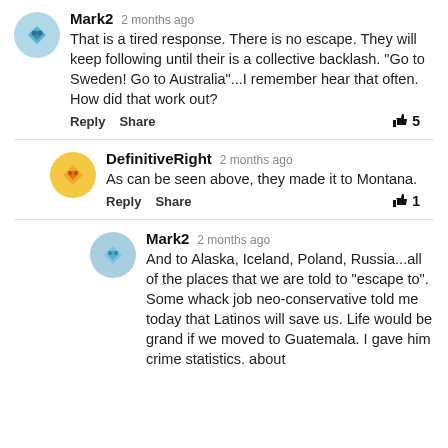Mark2 · 2 months ago
That is a tired response. There is no escape. They will keep following until their is a collective backlash. "Go to Sweden! Go to Australia"...I remember hear that often. How did that work out?
Reply  Share  👍 5
DefinitiveRight · 2 months ago
As can be seen above, they made it to Montana.
Reply  Share  👍 1
Mark2 · 2 months ago
And to Alaska, Iceland, Poland, Russia...all of the places that we are told to "escape to". Some whack job neo-conservative told me today that Latinos will save us. Life would be grand if we moved to Guatemala. I gave him crime statistics. about